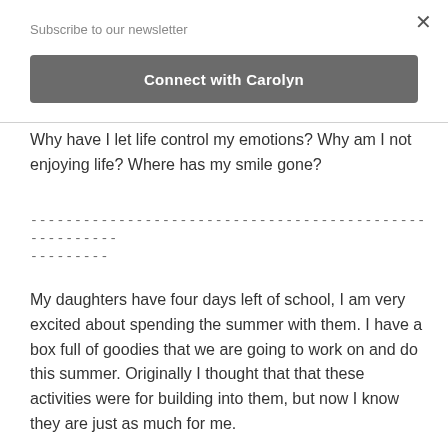Subscribe to our newsletter
Connect with Carolyn
Why have I let life control my emotions?  Why am I not enjoying life?  Where has my smile gone?
------------------------------------------------------------------------ ---------
My daughters have four days left of school, I am very excited about spending the summer with them.  I have a box full of goodies that we are going to work on and do this summer.  Originally I thought that that these activities were for building into them, but now I know they are just as much for me.